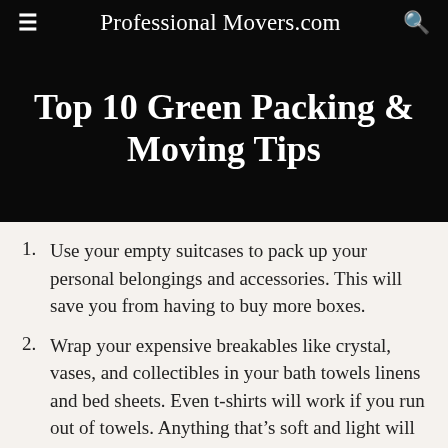Professional Movers.com
Top 10 Green Packing & Moving Tips
Use your empty suitcases to pack up your personal belongings and accessories. This will save you from having to buy more boxes.
Wrap your expensive breakables like crystal, vases, and collectibles in your bath towels linens and bed sheets. Even t-shirts will work if you run out of towels. Anything that’s soft and light will work to protect your breakables. This means you will use less paper